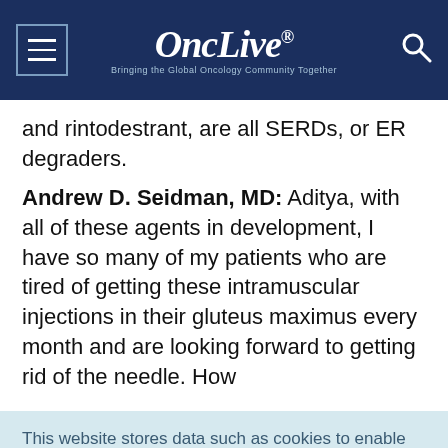OncLive® — Bringing the Global Oncology Community Together
and rintodestrant, are all SERDs, or ER degraders.
Andrew D. Seidman, MD: Aditya, with all of these agents in development, I have so many of my patients who are tired of getting these intramuscular injections in their gluteus maximus every month and are looking forward to getting rid of the needle. How
This website stores data such as cookies to enable essential site functionality, as well as marketing, personalization, and analytics. Cookie Policy
Accept
Deny